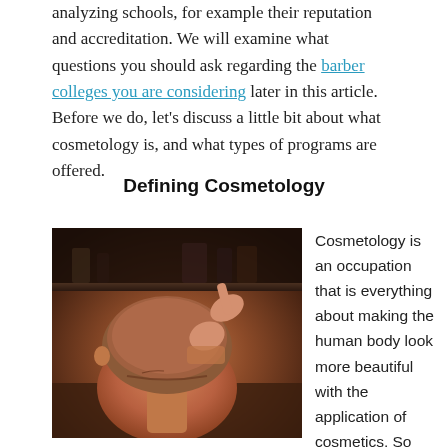analyzing schools, for example their reputation and accreditation. We will examine what questions you should ask regarding the barber colleges you are considering later in this article. Before we do, let's discuss a little bit about what cosmetology is, and what types of programs are offered.
Defining Cosmetology
[Figure (photo): A person getting a haircut at a barber shop, seen from behind. The barber's hand with a ring is visible pointing at the client's head. The image has warm reddish-brown tones.]
Cosmetology is an occupation that is everything about making the human body look more beautiful with the application of cosmetics. So naturally it makes sense that